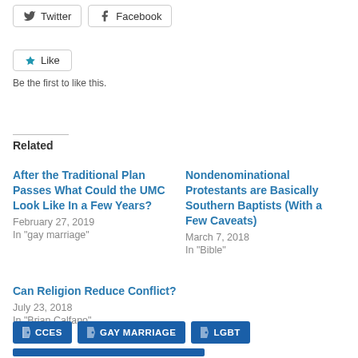[Figure (screenshot): Twitter and Facebook share buttons]
[Figure (screenshot): Like button with star icon and 'Be the first to like this.' text]
Be the first to like this.
Related
After the Traditional Plan Passes What Could the UMC Look Like In a Few Years?
February 27, 2019
In "gay marriage"
Nondenominational Protestants are Basically Southern Baptists (With a Few Caveats)
March 7, 2018
In "Bible"
Can Religion Reduce Conflict?
July 23, 2018
In "Brian Calfano"
CCES
GAY MARRIAGE
LGBT